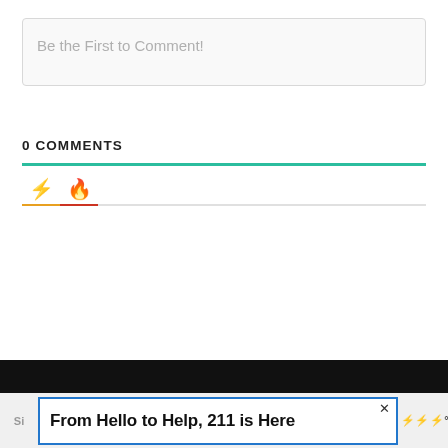Be the First to Comment!
0 COMMENTS
[Figure (screenshot): Tab icons: lightning bolt (yellow/orange) and flame (orange-red) with colored underlines]
[Figure (screenshot): Bottom navigation bar - black background]
From Hello to Help, 211 is Here